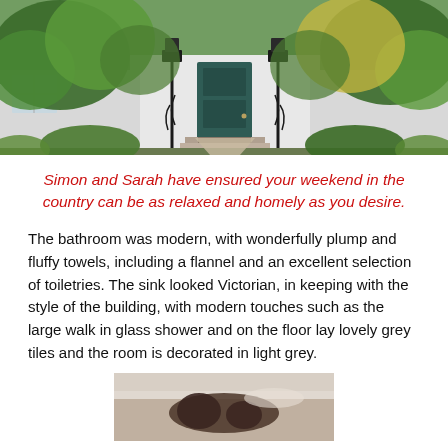[Figure (photo): Exterior photo of a white country cottage with a teal/dark green front door, flanked by ornamental black lamp posts, surrounded by lush green trees and shrubs]
Simon and Sarah have ensured your weekend in the country can be as relaxed and homely as you desire.
The bathroom was modern, with wonderfully plump and fluffy towels, including a flannel and an excellent selection of toiletries. The sink looked Victorian, in keeping with the style of the building, with modern touches such as the large walk in glass shower and on the floor lay lovely grey tiles and the room is decorated in light grey.
[Figure (photo): Partial photo of what appears to be a bath or spa area with a person or object visible]